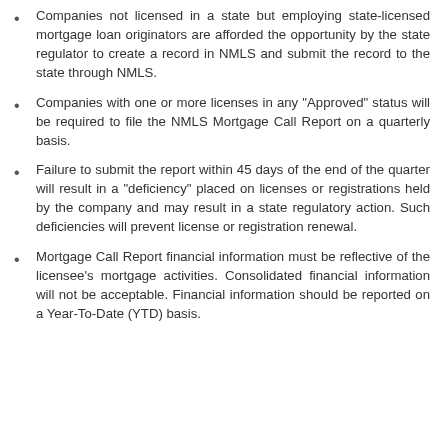Companies not licensed in a state but employing state-licensed mortgage loan originators are afforded the opportunity by the state regulator to create a record in NMLS and submit the record to the state through NMLS.
Companies with one or more licenses in any "Approved" status will be required to file the NMLS Mortgage Call Report on a quarterly basis.
Failure to submit the report within 45 days of the end of the quarter will result in a "deficiency" placed on licenses or registrations held by the company and may result in a state regulatory action. Such deficiencies will prevent license or registration renewal.
Mortgage Call Report financial information must be reflective of the licensee's mortgage activities. Consolidated financial information will not be acceptable. Financial information should be reported on a Year-To-Date (YTD) basis.